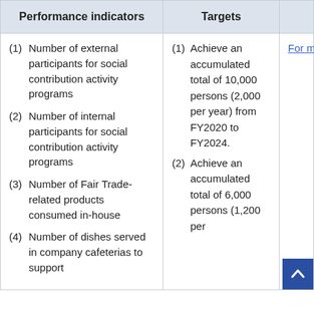| Performance indicators | Targets |  |
| --- | --- | --- |
| (1) Number of external participants for social contribution activity programs
(2) Number of internal participants for social contribution activity programs
(3) Number of Fair Trade-related products consumed in-house
(4) Number of dishes served in company cafeterias to support | (1) Achieve an accumulated total of 10,000 persons (2,000 per year) from FY2020 to FY2024.
(2) Achieve an accumulated total of 6,000 persons (1,200 per | For m |